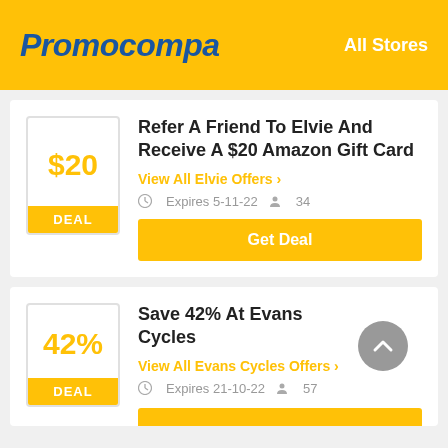Promocompa   All Stores
Refer A Friend To Elvie And Receive A $20 Amazon Gift Card
View All Elvie Offers >
Expires 5-11-22   34
Get Deal
Save 42% At Evans Cycles
View All Evans Cycles Offers >
Expires 21-10-22   57